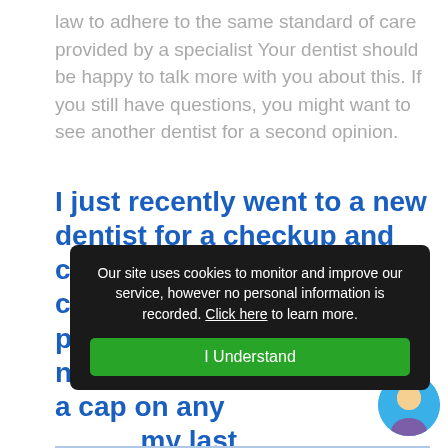law to adhere to the same standard of care provided by a specialist Your dentist should be happy to talk more with you about this. If you still have questions, you might want to see another dentist for a second opinion.
I just recently went to a new dentist for a checkup and cleaning and asked him to check a cap that that was put on my teeth by my [previous dentist who] informed me [there was no need for] a cap on any [of my teeth during] my last [visit. The cap was on] en front [tooth that had] apped it. Who should I believe?
Our site uses cookies to monitor and improve our service, however no personal information is recorded. Click here to learn more.
I Understand